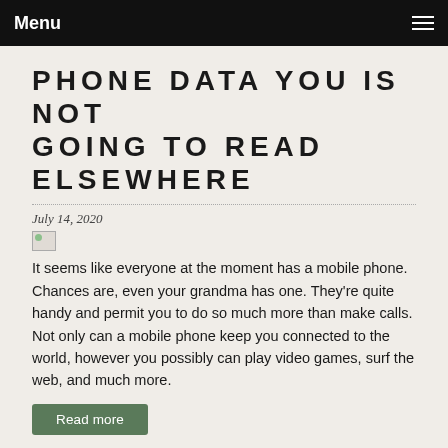Menu
PHONE DATA YOU IS NOT GOING TO READ ELSEWHERE
July 14, 2020
It seems like everyone at the moment has a mobile phone. Chances are, even your grandma has one. They're quite handy and permit you to do so much more than make calls. Not only can a mobile phone keep you connected to the world, however you possibly can play video games, surf the web, and much more.
Read more